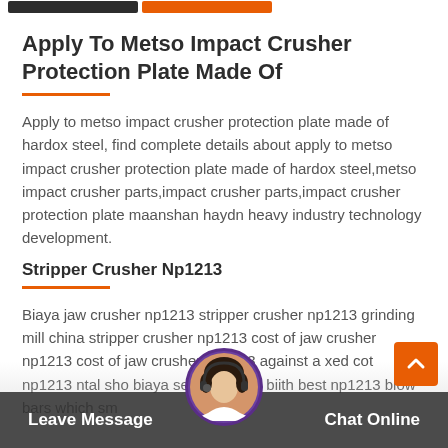Apply To Metso Impact Crusher Protection Plate Made Of
Apply to metso impact crusher protection plate made of hardox steel, find complete details about apply to metso impact crusher protection plate made of hardox steel,metso impact crusher parts,impact crusher parts,impact crusher protection plate maanshan haydn heavy industry technology development.
Stripper Crusher Np1213
Biaya jaw crusher np1213 stripper crusher np1213 grinding mill china stripper crusher np1213 cost of jaw crusher np1213 cost of jaw crusher np1213 against a xed cost np1213 dental sho biaya sewa crusher biith best np1213 blow bars which sm
Leave Message   Chat Online